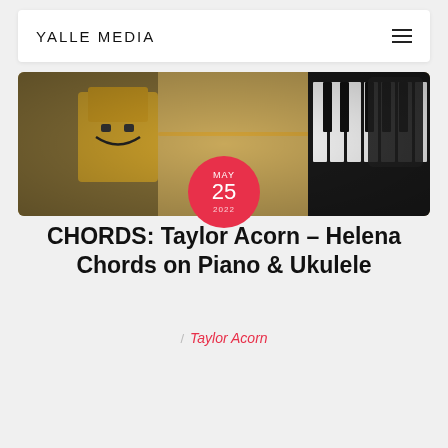YALLE MEDIA
[Figure (photo): Hero image showing yellow/cardboard robot figure and a piano keyboard, with red circular date badge overlay showing MAY 25 2022]
CHORDS: Taylor Acorn – Helena Chords on Piano & Ukulele
/ Taylor Acorn